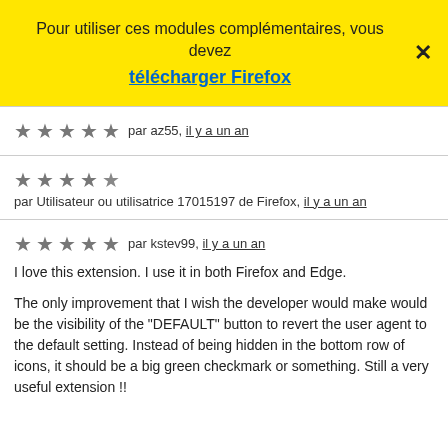Pour utiliser ces modules complémentaires, vous devez
télécharger Firefox
par az55, il y a un an
par Utilisateur ou utilisatrice 17015197 de Firefox, il y a un an
par kstev99, il y a un an
I love this extension. I use it in both Firefox and Edge.

The only improvement that I wish the developer would make would be the visibility of the "DEFAULT" button to revert the user agent to the default setting. Instead of being hidden in the bottom row of icons, it should be a big green checkmark or something. Still a very useful extension !!